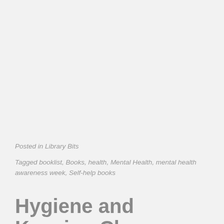Posted in Library Bits
Tagged booklist, Books, health, Mental Health, mental health awareness week, Self-help books
Hygiene and Keeping Clean